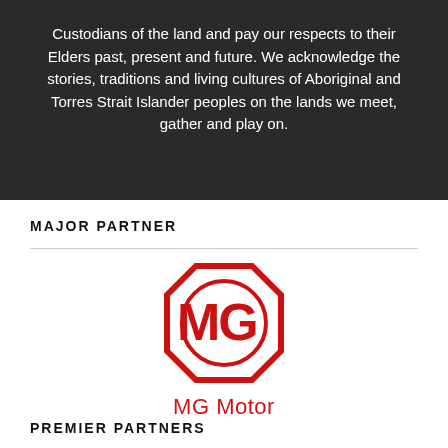Custodians of the land and pay our respects to their Elders past, present and future. We acknowledge the stories, traditions and living cultures of Aboriginal and Torres Strait Islander peoples on the lands we meet, gather and play on.
MAJOR PARTNER
[Figure (logo): MG Motor logo — red octagonal outline with MG letters inside, and 'MG Motor' text below in red]
PREMIER PARTNERS